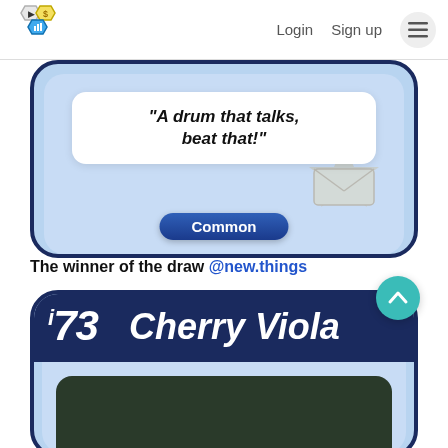Login  Sign up  ≡
[Figure (screenshot): Game card (partial, top) showing quote 'A drum that talks, beat that!' with a Common rarity badge on a blue card background]
The winner of the draw @new.things
[Figure (screenshot): Game card (partial, bottom) showing i73 Cherry Viola card with dark navy header bar and teal card image area]